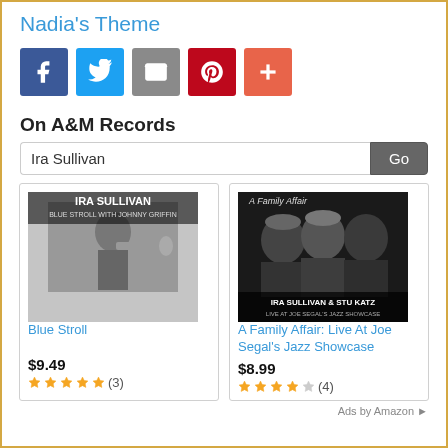Nadia's Theme
[Figure (other): Social share buttons: Facebook, Twitter, Email, Pinterest, and a plus/more button]
On A&M Records
Ira Sullivan [search input] Go
[Figure (other): Album cover for Blue Stroll by Ira Sullivan - black and white photo of man playing trumpet]
Blue Stroll
$9.49
★★★★★ (3)
[Figure (other): Album cover for A Family Affair: Live At Joe Segal's Jazz Showcase by Ira Sullivan & Stu Katz]
A Family Affair: Live At Joe Segal's Jazz Showcase
$8.99
★★★★☆ (4)
Ads by Amazon